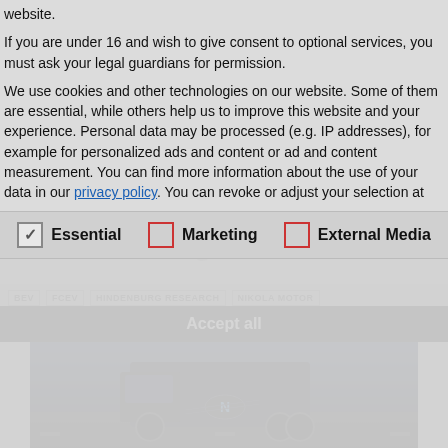website.
If you are under 16 and wish to give consent to optional services, you must ask your legal guardians for permission.
We use cookies and other technologies on our website. Some of them are essential, while others help us to improve this website and your experience. Personal data may be processed (e.g. IP addresses), for example for personalized ads and content or ad and content measurement. You can find more information about the use of your data in our privacy policy. You can revoke or adjust your selection at
Essential
Marketing
External Media
[Figure (photo): Dark Nikola electric truck on a road, dramatic sky background]